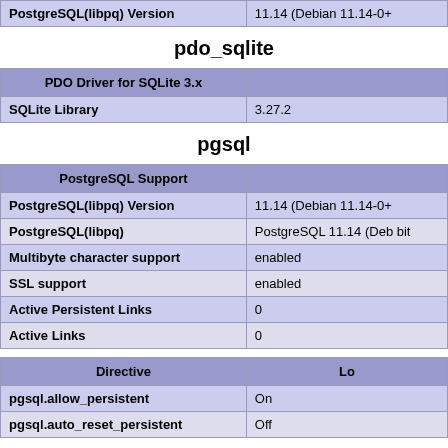|  |  |
| --- | --- |
| PostgreSQL(libpq) Version | 11.14 (Debian 11.14-0+ |
pdo_sqlite
| PDO Driver for SQLite 3.x |  |
| --- | --- |
| SQLite Library | 3.27.2 |
pgsql
| PostgreSQL Support |  |
| --- | --- |
| PostgreSQL(libpq) Version | 11.14 (Debian 11.14-0+ |
| PostgreSQL(libpq) | PostgreSQL 11.14 (Deb bit |
| Multibyte character support | enabled |
| SSL support | enabled |
| Active Persistent Links | 0 |
| Active Links | 0 |
| Directive | Lo |
| --- | --- |
| pgsql.allow_persistent | On |
| pgsql.auto_reset_persistent | Off |